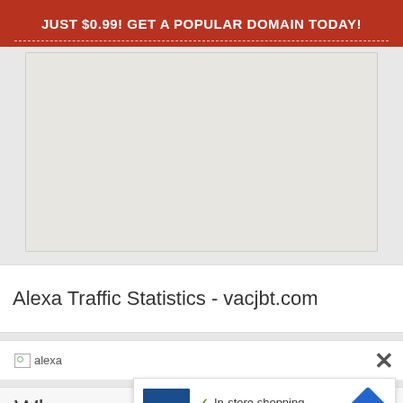JUST $0.99! GET A POPULAR DOMAIN TODAY!
[Figure (map): Light gray map area placeholder]
Alexa Traffic Statistics - vacjbt.com
[Figure (other): Alexa image placeholder with broken image icon and close X button]
Who
[Figure (other): Petco advertisement overlay with In-store shopping and Curbside pickup checkmarks, navigation diamond icon, and ad footer icons]